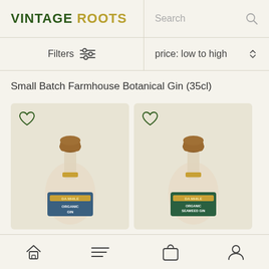VINTAGE ROOTS
Search
Filters   price: low to high
Small Batch Farmhouse Botanical Gin (35cl)
[Figure (photo): Two product cards showing gin bottles: left card shows Da Mhile Organic Gin (blue label), right card shows Da Mhile Organic Seaweed Gin (green label). Each card has a heart/wishlist icon in top left corner.]
Home | Menu | Bag | Account